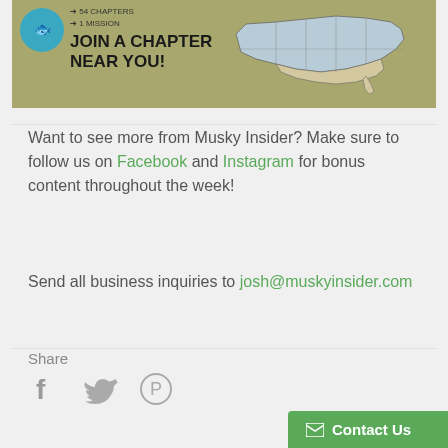[Figure (illustration): Banner image showing a fish/musky logo, arrows with '54 CHAPTERS' and '1 MISSION' text, 'JOIN A CHAPTER NEAR YOU!' headline, and a map of the United States with chapter regions marked]
Want to see more from Musky Insider? Make sure to follow us on Facebook and Instagram for bonus content throughout the week!
Send all business inquiries to josh@muskyinsider.com
Share
[Figure (infographic): Social share icons: Facebook (f), Twitter (bird), Pinterest (P)]
Contact Us